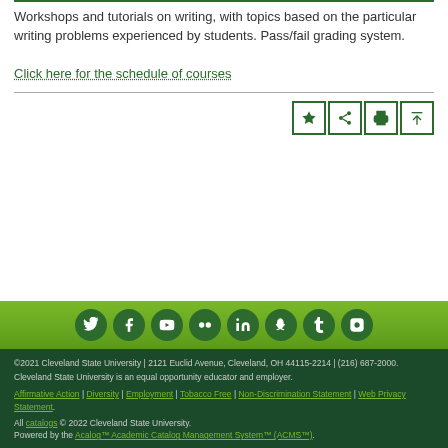Workshops and tutorials on writing, with topics based on the particular writing problems experienced by students. Pass/fail grading system.
Click here for the schedule of courses
©2021 Cleveland State University | 2121 Euclid Avenue, Cleveland, OH 44115-2214 | (216) 687-2000. Cleveland State University is an equal opportunity educator and employer. Affirmative Action | Diversity | Employment | Tobacco Free | Non-Discrimination Statement | Web Privacy Statement All catalogs © 2022 Cleveland State University. Powered by the Acalog™ Academic Catalog Management System™ (ACMS™).